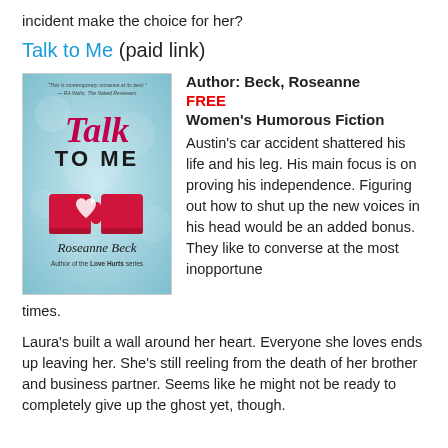incident make the choice for her?
Talk to Me (paid link)
[Figure (illustration): Book cover for 'Talk to Me' by Roseanne Beck. Teal/blue bokeh background with the title 'Talk to Me' in stylized script and bold text, two red mugs with heart cutout, tagline quote at top, author name 'Roseanne Beck' and 'Author of the Love Hurts series' at bottom.]
Author: Beck, Roseanne
FREE
Women's Humorous Fiction
Austin's car accident shattered his life and his leg. His main focus is on proving his independence. Figuring out how to shut up the new voices in his head would be an added bonus. They like to converse at the most inopportune times.
Laura's built a wall around her heart. Everyone she loves ends up leaving her. She's still reeling from the death of her brother and business partner. Seems like he might not be ready to completely give up the ghost yet, though.